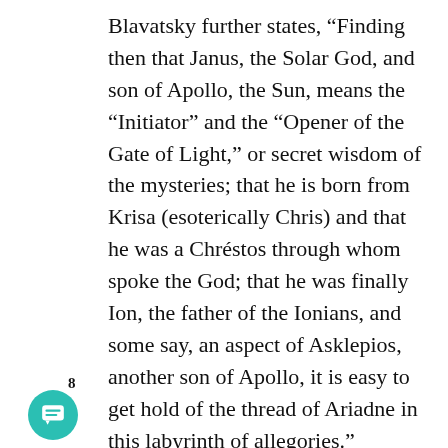Blavatsky further states, “Finding then that Janus, the Solar God, and son of Apollo, the Sun, means the “Initiator” and the “Opener of the Gate of Light,” or secret wisdom of the mysteries; that he is born from Krisa (esoterically Chris) and that he was a Chréstos through whom spoke the God; that he was finally Ion, the father of the Ionians, and some say, an aspect of Asklepios, another son of Apollo, it is easy to get hold of the thread of Ariadne in this labyrinth of allegories.”
Before the Roman Empire and the Christian
8